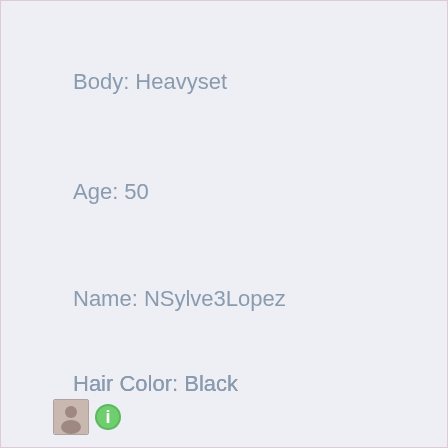Body: Heavyset
Age: 50
Name: NSylve3Lopez
Hair Color: Black
City: Kihei, Hawaii
[Figure (other): Small person icon thumbnail and green info icon at bottom left]